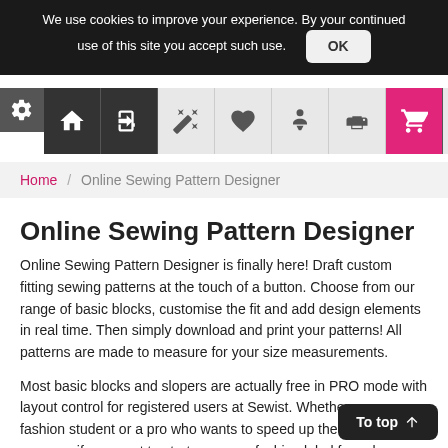We use cookies to improve your experience. By your continued use of this site you accept such use. OK
[Figure (screenshot): Navigation bar with home, login, edit, favorite, figure, print, and cart icons. Gear icon on left side.]
Home / Online Sewing Pattern Designer
Online Sewing Pattern Designer
Online Sewing Pattern Designer is finally here! Draft custom fitting sewing patterns at the touch of a button. Choose from our range of basic blocks, customise the fit and add design elements in real time. Then simply download and print your patterns! All patterns are made to measure for your size measurements.
Most basic blocks and slopers are actually free in PRO mode with layout control for registered users at Sewist. Whether you are a fashion student or a pro who wants to speed up the design process, if you want to start your own fashion label for sale or make your own clothes - you are welcome to royalty free sewing patterns. Some options are marked with